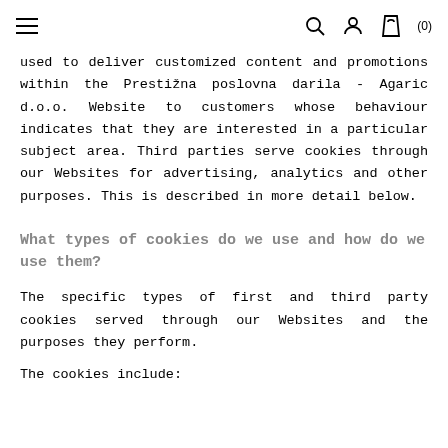≡  🔍 👤 🛍 (0)
used to deliver customized content and promotions within the Prestižna poslovna darila - Agaric d.o.o. Website to customers whose behaviour indicates that they are interested in a particular subject area. Third parties serve cookies through our Websites for advertising, analytics and other purposes. This is described in more detail below.
What types of cookies do we use and how do we use them?
The specific types of first and third party cookies served through our Websites and the purposes they perform.
The cookies include: